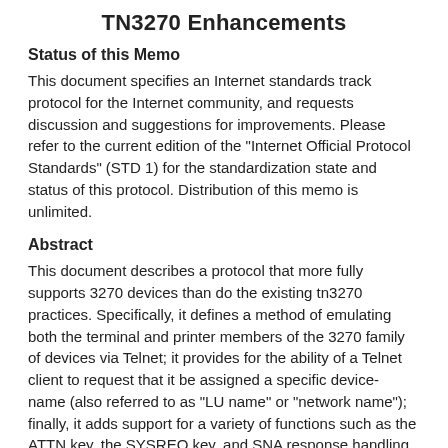TN3270 Enhancements
Status of this Memo
This document specifies an Internet standards track protocol for the Internet community, and requests discussion and suggestions for improvements. Please refer to the current edition of the "Internet Official Protocol Standards" (STD 1) for the standardization state and status of this protocol. Distribution of this memo is unlimited.
Abstract
This document describes a protocol that more fully supports 3270 devices than do the existing tn3270 practices. Specifically, it defines a method of emulating both the terminal and printer members of the 3270 family of devices via Telnet; it provides for the ability of a Telnet client to request that it be assigned a specific device- name (also referred to as "LU name" or "network name"); finally, it adds support for a variety of functions such as the ATTN key, the SYSREQ key, and SNA response handling.